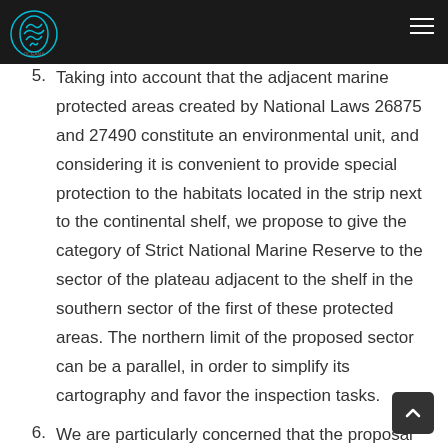Navigation bar with logo and menu
5. Taking into account that the adjacent marine protected areas created by National Laws 26875 and 27490 constitute an environmental unit, and considering it is convenient to provide special protection to the habitats located in the strip next to the continental shelf, we propose to give the category of Strict National Marine Reserve to the sector of the plateau adjacent to the shelf in the southern sector of the first of these protected areas. The northern limit of the proposed sector can be a parallel, in order to simplify its cartography and favor the inspection tasks.
6. We are particularly concerned that the proposal submitted to public consultation includes the western sector of the bank in the category of